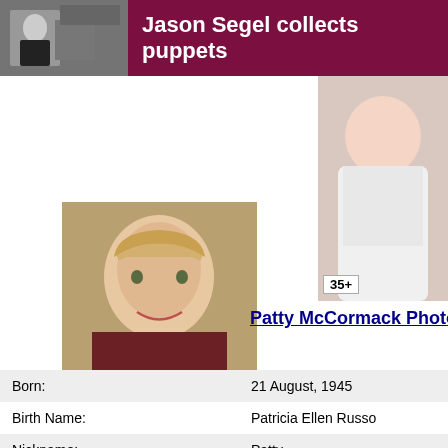Jason Segel collects puppets
[Figure (photo): Advertisement image showing a woman's torso with a white top, with a badge reading '35+']
Patty McCormack Photos
[Figure (photo): Portrait photo of Patty McCormack, a blonde woman]
Patty McCormack info
| Field | Value |
| --- | --- |
| Born: | 21 August, 1945 |
| Birth Name: | Patricia Ellen Russo |
| Nickname: | Patty |
| Also Known As: | Patty McCormack, Patricia McCormack, Patty McCo... |